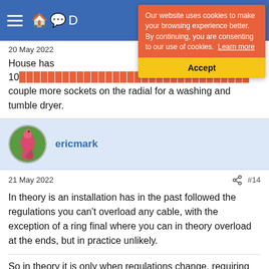[Figure (screenshot): Blue navigation bar with hamburger menu and icons]
[Figure (infographic): Cookie consent banner with orange background reading 'Our website uses cookies to make your browsing experience better. By continuing, you are consenting to our use of cookies. Learn more' and a yellow Accept button]
20 May 2022
House has 10... couple more sockets on the radial for a washing and tumble dryer.
ericmark
21 May 2022
#14
In theory is an installation has in the past followed the regulations you can't overload any cable, with the exception of a ring final where you can in theory overload at the ends, but in practice unlikely.
So in theory it is only when regulations change, requiring for example RCD protection when you are stopped from adding to a